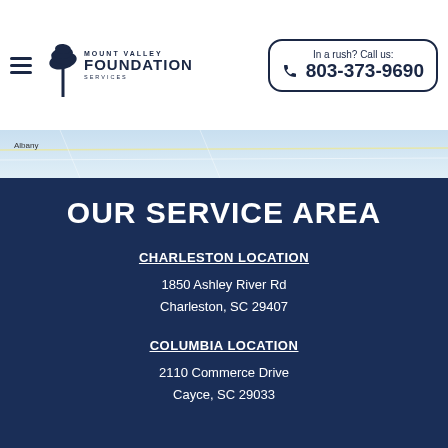Mount Valley Foundation — In a rush? Call us: 803-373-9690
[Figure (map): Partial map background strip showing road map with Albany label visible]
OUR SERVICE AREA
CHARLESTON LOCATION
1850 Ashley River Rd
Charleston, SC 29407
COLUMBIA LOCATION
2110 Commerce Drive
Cayce, SC 29033